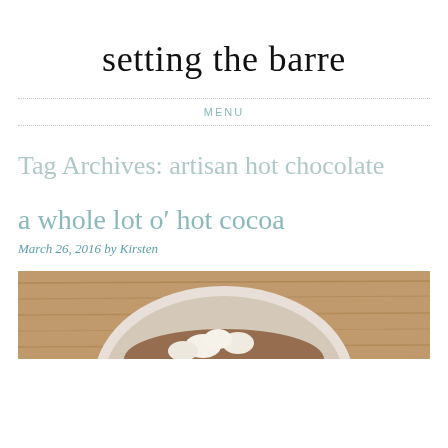setting the barre
MENU
Tag Archives: artisan hot chocolate
a whole lot o' hot cocoa
March 26, 2016 by Kirsten
[Figure (photo): Photo of a bowl of hot cocoa with marshmallows on a wooden surface, partially visible at the bottom of the page]